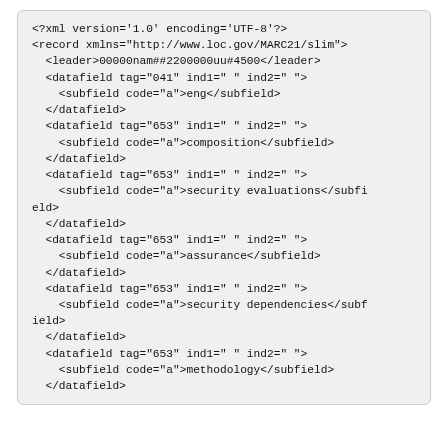<?xml version='1.0' encoding='UTF-8'?>
<record xmlns="http://www.loc.gov/MARC21/slim">
  <leader>00000nam##2200000uu#4500</leader>
  <datafield tag="041" ind1=" " ind2=" ">
    <subfield code="a">eng</subfield>
  </datafield>
  <datafield tag="653" ind1=" " ind2=" ">
    <subfield code="a">composition</subfield>
  </datafield>
  <datafield tag="653" ind1=" " ind2=" ">
    <subfield code="a">security evaluations</subfield>
  </datafield>
  <datafield tag="653" ind1=" " ind2=" ">
    <subfield code="a">assurance</subfield>
  </datafield>
  <datafield tag="653" ind1=" " ind2=" ">
    <subfield code="a">security dependencies</subfield>
  </datafield>
  <datafield tag="653" ind1=" " ind2=" ">
    <subfield code="a">methodology</subfield>
  </datafield>